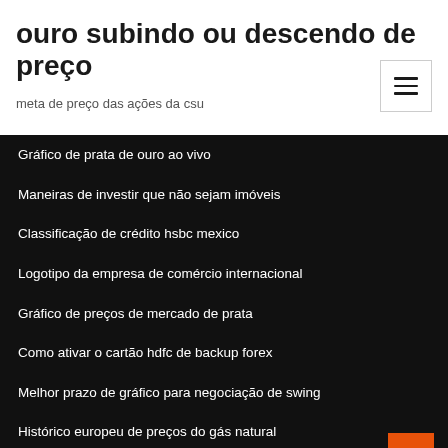ouro subindo ou descendo de preço
meta de preço das ações da csu
Gráfico de prata de ouro ao vivo
Maneiras de investir que não sejam imóveis
Classificação de crédito hsbc mexico
Logotipo da empresa de comércio internacional
Gráfico de preços de mercado de prata
Como ativar o cartão hdfc de backup forex
Melhor prazo de gráfico para negociação de swing
Histórico europeu de preços do gás natural